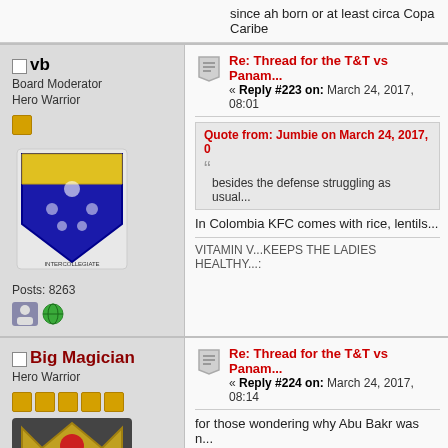since ah born or at least circa Copa Caribe
vb — Re: Thread for the T&T vs Panama...
Board Moderator
Hero Warrior
Posts: 8263
« Reply #223 on: March 24, 2017, 08:01
Quote from: Jumbie on March 24, 2017, 0
besides the defense struggling as usual...
In Colombia KFC comes with rice, lentils...
VITAMIN V...KEEPS THE LADIES HEALTHY...:
Big Magician — Re: Thread for the T&T vs Panama...
Hero Warrior
« Reply #224 on: March 24, 2017, 08:14
for those wondering why Abu Bakr was n...